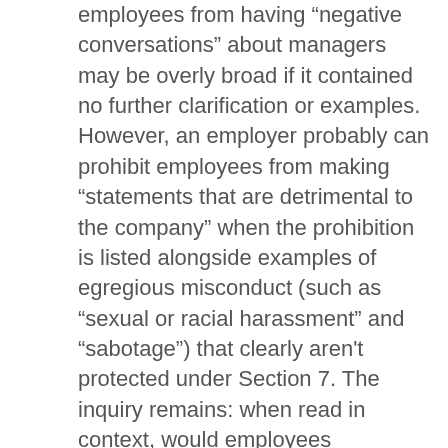employees from having “negative conversations” about managers may be overly broad if it contained no further clarification or examples. However, an employer probably can prohibit employees from making “statements that are detrimental to the company” when the prohibition is listed alongside examples of egregious misconduct (such as “sexual or racial harassment” and “sabotage”) that clearly aren't protected under Section 7. The inquiry remains: when read in context, would employees reasonably construe the rule as restricting Section 7 activity?
Although the inclusion of limiting or clarifying language may protect an employer’s otherwise overbroad policy, it’s probably wiser to just more carefully articulate the prohibited activity itself. (If you can’t say “don’t do stuff that annoys us,” but you may say, “don’t do stuff that annoys us, like sexually harassing other employees or stealing